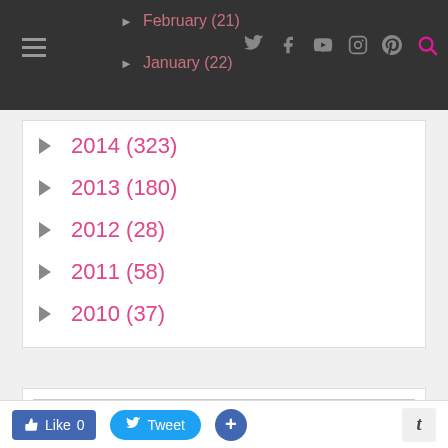Navigation bar with hamburger menu, February (21), January (22) links, and social icons
► 2014 (323)
► 2013 (180)
► 2012 (28)
► 2011 (58)
► 2010 (37)
[Figure (screenshot): NetworkedBlogs widget with logo text and 'Follow this blog' button]
Like 0  Tweet  +  t